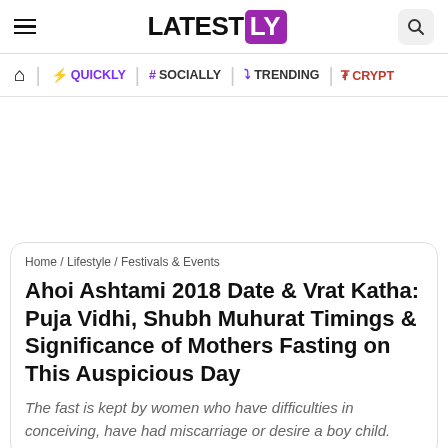LATESTLY
Home / QUICKLY / # SOCIALLY / TRENDING / CRYPTO
Ahoi Ashtami 2018 Date & Vrat Katha: Puja Vidhi, Shubh Muhurat Timings & Significance of Mothers Fasting on This Auspicious Day
The fast is kept by women who have difficulties in conceiving, have had miscarriage or desire a boy child.